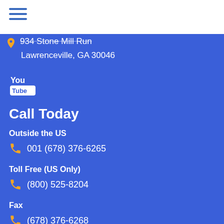[Figure (other): Hamburger menu icon with three horizontal blue lines]
934 Stone Mill Run
Lawrenceville, GA 30046
[Figure (logo): YouTube logo icon in white on blue background]
Call Today
Outside the US
001 (678) 376-6265
Toll Free (US Only)
(800) 525-8204
Fax
(678) 376-6268